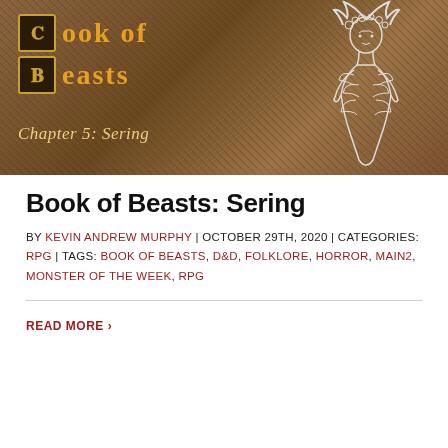[Figure (illustration): Book of Beasts banner image with brown/tan background, ornate title 'Book of Beasts' in gold/orange with decorative letter corners, subtitle 'Chapter 5: Sering' in italic gold, and a line-art illustration of a female figure with antlers and floral/leaf dress on the right side.]
Book of Beasts: Sering
BY KEVIN ANDREW MURPHY | OCTOBER 29TH, 2020 | CATEGORIES: RPG | TAGS: BOOK OF BEASTS, D&D, FOLKLORE, HORROR, MAIN2, MONSTER OF THE WEEK, RPG
READ MORE >